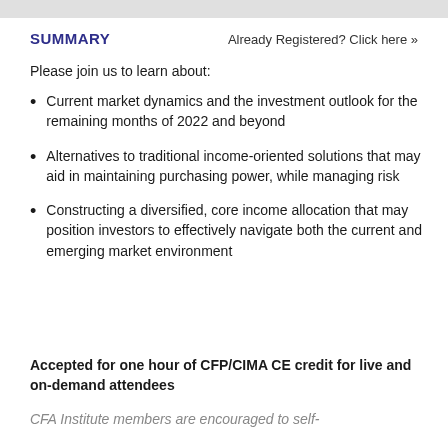SUMMARY    Already Registered? Click here »
Please join us to learn about:
Current market dynamics and the investment outlook for the remaining months of 2022 and beyond
Alternatives to traditional income-oriented solutions that may aid in maintaining purchasing power, while managing risk
Constructing a diversified, core income allocation that may position investors to effectively navigate both the current and emerging market environment
Accepted for one hour of CFP/CIMA CE credit for live and on-demand attendees
CFA Institute members are encouraged to self-